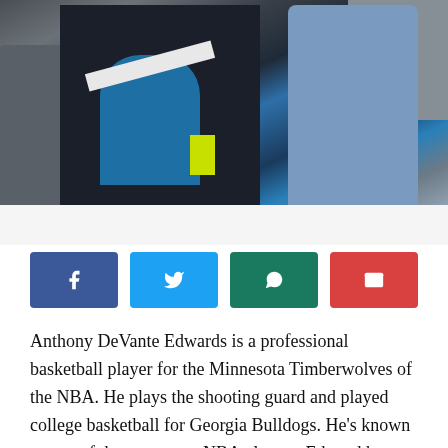[Figure (photo): Close-up photo of a basketball player seated on a bench, showing dark sportswear with blue sleeve and white stripe, with other people in jeans visible on either side]
[Figure (infographic): Social media share buttons: Facebook (dark blue), Twitter (light blue), WhatsApp (teal/green), Email (red)]
Anthony DeVante Edwards is a professional basketball player for the Minnesota Timberwolves of the NBA. He plays the shooting guard and played college basketball for Georgia Bulldogs. He's known as one of the top young NBA players. Edward has had a rather successful